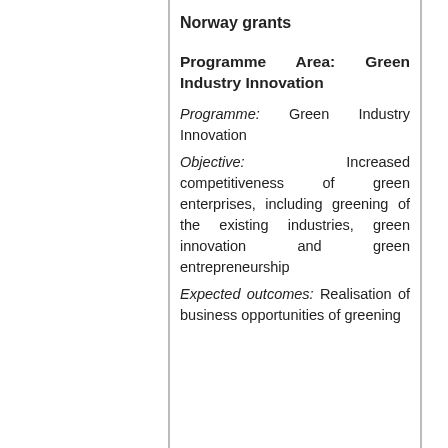Norway grants
Programme Area: Green Industry Innovation
Programme: Green Industry Innovation
Objective: Increased competitiveness of green enterprises, including greening of the existing industries, green innovation and green entrepreneurship
Expected outcomes: Realisation of business opportunities of greening